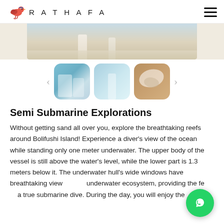RATHAFA
[Figure (photo): Hero image showing couple on white sandy beach, partially cropped]
[Figure (photo): Carousel with three thumbnail images: couple on beach with ocean background, couple standing on beach, aerial/top-down view of wedding dress]
Semi Submarine Explorations
Without getting sand all over you, explore the breathtaking reefs around Bolifushi Island! Experience a diver's view of the ocean while standing only one meter underwater. The upper body of the vessel is still above the water's level, while the lower part is 1.3 meters below it. The underwater hull's wide windows have breathtaking views of the underwater ecosystem, providing the feel of a true submarine dive. During the day, you will enjoy the